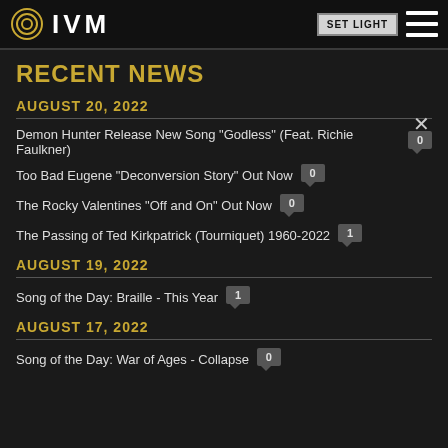IVM | SET LIGHT
RECENT NEWS
AUGUST 20, 2022
Demon Hunter Release New Song "Godless" (Feat. Richie Faulkner) 0
Too Bad Eugene "Deconversion Story" Out Now 0
The Rocky Valentines "Off and On" Out Now 0
The Passing of Ted Kirkpatrick (Tourniquet) 1960-2022 1
AUGUST 19, 2022
Song of the Day: Braille - This Year 1
AUGUST 17, 2022
Song of the Day: War of Ages - Collapse 0